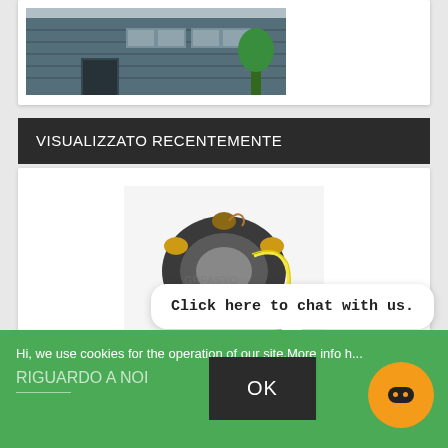[Figure (photo): Partial view of a building exterior with dark grey cladding and industrial windows]
VISUALIZZATO RECENTEMENTE
[Figure (photo): Photo of an Illuminazione bobina ignition stator coil component with yellow wires against white background, watermarked with shop logo]
Illuminazione bobina - L46
Click here to chat with us.
Hi, we use cookies for the operation of our site.More info h...
RIGUARDO A NOI
OK